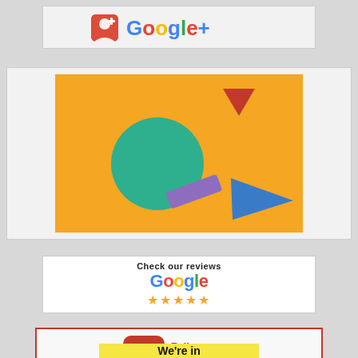[Figure (logo): Google+ logo with red icon and Google+ text in multicolor]
[Figure (illustration): Orange background with geometric shapes: red triangle top right, teal circle center-left, purple rectangle bottom center, blue triangle bottom right]
[Figure (logo): Check our reviews - Google logo with 5 yellow stars]
[Figure (logo): Follow us on Pinterest - Pinterest P icon with red rounded square and red bordered frame]
[Figure (logo): We're in - yellow background with black text, partially visible]